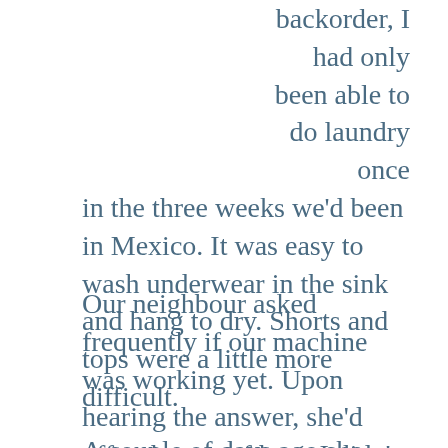backorder, I had only been able to do laundry once in the three weeks we'd been in Mexico. It was easy to wash underwear in the sink and hang to dry. Shorts and tops were a little more difficult.
Our neighbour asked frequently if our machine was working yet. Upon hearing the answer, she'd offer the use of hers. I didn't want to be a bother so would always decline.
A couple of days ago she saw my husband outside and told him to have me bring over our dirty clothes for her to wash. The time had come to accept her offer. We were heading out for